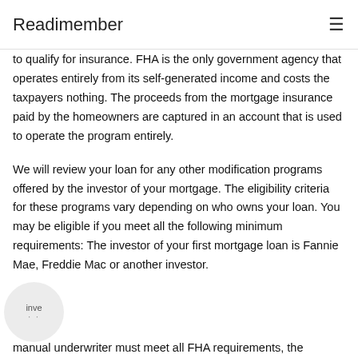Readimember
to qualify for insurance. FHA is the only government agency that operates entirely from its self-generated income and costs the taxpayers nothing. The proceeds from the mortgage insurance paid by the homeowners are captured in an account that is used to operate the program entirely.
We will review your loan for any other modification programs offered by the investor of your mortgage. The eligibility criteria for these programs vary depending on who owns your loan. You may be eligible if you meet all the following minimum requirements: The investor of your first mortgage loan is Fannie Mae, Freddie Mac or another investor.
manual underwriter must meet all FHA requirements, the